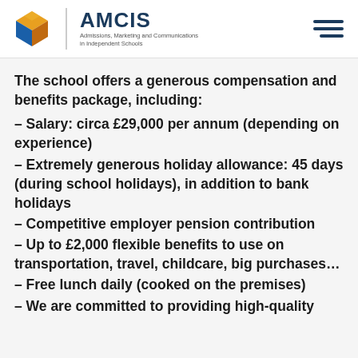AMCIS – Admissions, Marketing and Communications in Independent Schools
The school offers a generous compensation and benefits package, including:
– Salary: circa £29,000 per annum (depending on experience)
– Extremely generous holiday allowance: 45 days (during school holidays), in addition to bank holidays
– Competitive employer pension contribution
– Up to £2,000 flexible benefits to use on transportation, travel, childcare, big purchases…
– Free lunch daily (cooked on the premises)
– We are committed to providing high-quality